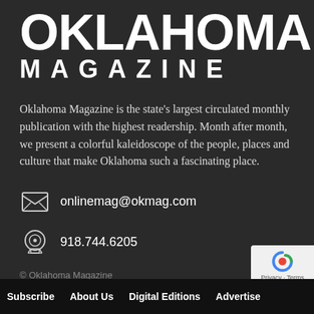OKLAHOMA MAGAZINE
Oklahoma Magazine is the state's largest circulated monthly publication with the highest readership. Month after month, we present a colorful kaleidoscope of the people, places and culture that make Oklahoma such a fascinating place.
onlinemag@okmag.com
918.744.6205
© Oklahoma Magazine
Subscribe   About Us   Digital Editions   Advertise